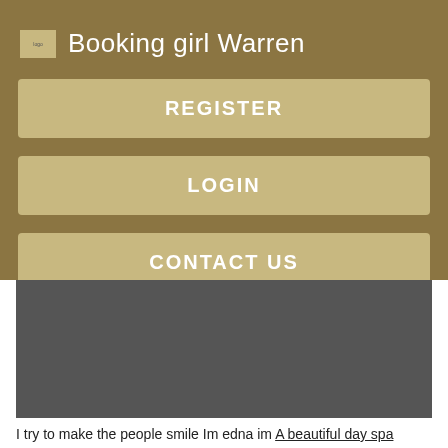Booking girl Warren
REGISTER
LOGIN
CONTACT US
[Figure (screenshot): Dark grey rectangular image area, appears to be a photo placeholder or blurred image]
I try to make the people smile Im edna im A beautiful day spa